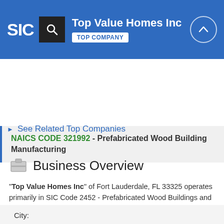SIC | Top Value Homes Inc | TOP COMPANY
NAICS CODE 321992 - Prefabricated Wood Building Manufacturing
See Related Top Companies
Business Overview
"Top Value Homes Inc" of Fort Lauderdale, FL 33325 operates primarily in SIC Code 2452 - Prefabricated Wood Buildings and Components and NAICS Code 321992 - Prefabricated Wood Building Manufacturing. Top Value Homes Inc is a small-sized business with low revenue, that is established in its industry.
City: